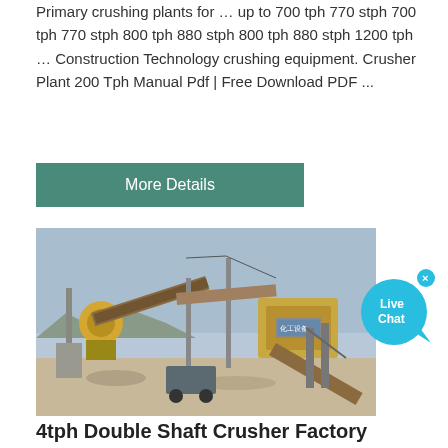Primary crushing plants for … up to 700 tph 770 stph 700 tph 770 stph 800 tph 880 stph 800 tph 880 stph 1200 tph … Construction Technology crushing equipment. Crusher Plant 200 Tph Manual Pdf | Free Download PDF ...
More Details
[Figure (photo): Industrial crusher plant with conveyor belts and heavy machinery at a mining/quarry site]
[Figure (other): Live Chat bubble button (blue circular chat icon with 'Live Chat' text)]
4tph Double Shaft Crusher Factory
Double shaft crusher Working principle . The metal crusher machine mainly rely on impact of material to broken. The material enter into the crusher, suffered the impact and broken of the high